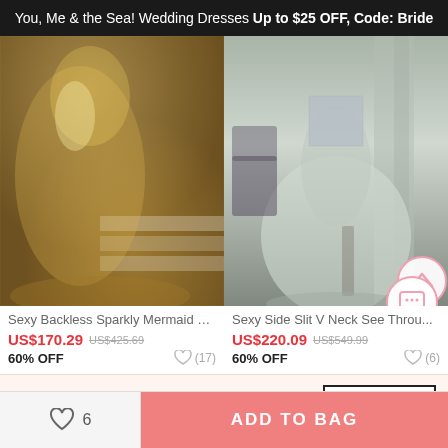You, Me & the Sea! Wedding Dresses Up to $25 OFF, Code: Bride
[Figure (photo): Gold sequin mermaid dress worn by a woman sitting on white stairs]
[Figure (photo): Light gray/silver tulle dress with embellished top and side slit, back view]
Sexy Backless Sparkly Mermaid S...
US$170.29  US$425.69
60% OFF   ♡ (17)
Sexy Side Slit V Neck See Throu...
US$220.09  US$549.99
60% OFF   ♡ (6)
✕  Get $5 off for your first order!
CLAIM NOW
♡ 6    ADD TO BAG